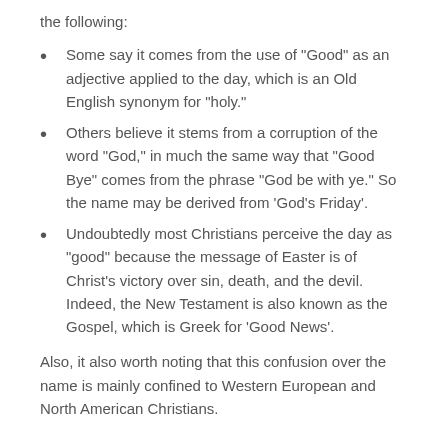the following:
Some say it comes from the use of "Good" as an adjective applied to the day, which is an Old English synonym for "holy."
Others believe it stems from a corruption of the word "God," in much the same way that "Good Bye" comes from the phrase "God be with ye." So the name may be derived from 'God's Friday'.
Undoubtedly most Christians perceive the day as "good" because the message of Easter is of Christ's victory over sin, death, and the devil. Indeed, the New Testament is also known as the Gospel, which is Greek for 'Good News'.
Also, it also worth noting that this confusion over the name is mainly confined to Western European and North American Christians.